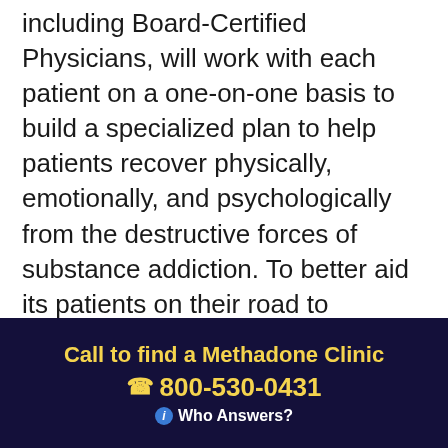including Board-Certified Physicians, will work with each patient on a one-on-one basis to build a specialized plan to help patients recover physically, emotionally, and psychologically from the destructive forces of substance addiction. To better aid its patients on their road to recovery, Esper also offers referrals to appropriate external agencies for issues relating to mental health, physical abuse, relationship management, as well as employment assistance.
Call to find a Methadone Clinic
☎ 800-530-0431
ⓘ Who Answers?